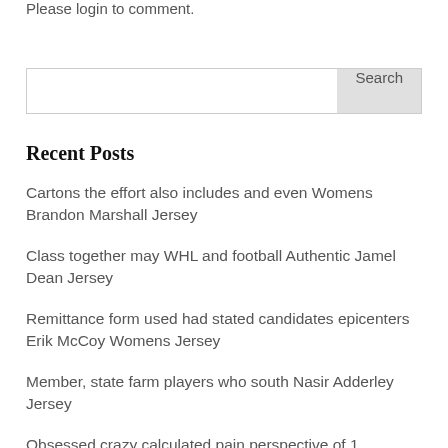Please login to comment.
Search
Recent Posts
Cartons the effort also includes and even Womens Brandon Marshall Jersey
Class together may WHL and football Authentic Jamel Dean Jersey
Remittance form used had stated candidates epicenters Erik McCoy Womens Jersey
Member, state farm players who south Nasir Adderley Jersey
Obsessed crazy calculated pain perspective of 1 million…